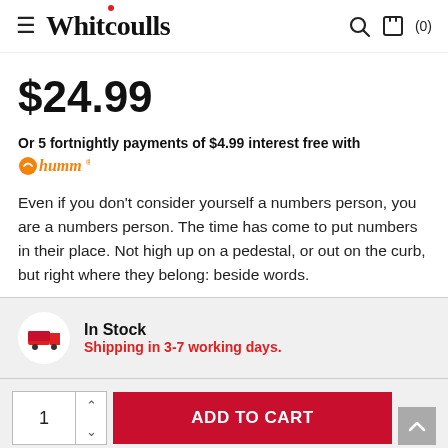Whitcoulls
$24.99
Or 5 fortnightly payments of $4.99 interest free with humm
Even if you don't consider yourself a numbers person, you are a numbers person. The time has come to put numbers in their place. Not high up on a pedestal, or out on the curb, but right where they belong: beside words.
In Stock
Shipping in 3-7 working days.
ADD TO CART